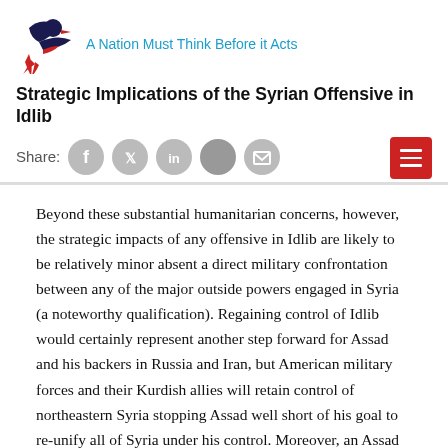A Nation Must Think Before it Acts
Strategic Implications of the Syrian Offensive in Idlib
Share:
Beyond these substantial humanitarian concerns, however, the strategic impacts of any offensive in Idlib are likely to be relatively minor absent a direct military confrontation between any of the major outside powers engaged in Syria (a noteworthy qualification). Regaining control of Idlib would certainly represent another step forward for Assad and his backers in Russia and Iran, but American military forces and their Kurdish allies will retain control of northeastern Syria stopping Assad well short of his goal to re-unify all of Syria under his control. Moreover, an Assad victory in Idlib will do little to restore Assad's legitimacy among the Sunni majority population who have suffered most acutely under his rule. Localized and periodic